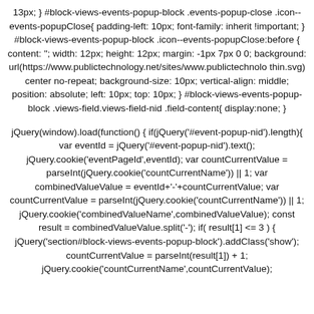13px; } #block-views-events-popup-block .events-popup-close .icon--events-popupClose{ padding-left: 10px; font-family: inherit !important; } #block-views-events-popup-block .icon--events-popupClose:before { content: ''; width: 12px; height: 12px; margin: -1px 7px 0 0; background: url(https://www.publictechnology.net/sites/www.publictechnolo thin.svg) center no-repeat; background-size: 10px; vertical-align: middle; position: absolute; left: 10px; top: 10px; } #block-views-events-popup-block .views-field.views-field-nid .field-content{ display:none; }
jQuery(window).load(function() { if(jQuery('#event-popup-nid').length){ var eventId = jQuery('#event-popup-nid').text(); jQuery.cookie('eventPageId',eventId); var countCurrentValue = parseInt(jQuery.cookie('countCurrentName')) || 1; var combinedValueValue = eventId+'-'+countCurrentValue; var countCurrentValue = parseInt(jQuery.cookie('countCurrentName')) || 1; jQuery.cookie('combinedValueName',combinedValueValue); const result = combinedValueValue.split('-'); if( result[1] <= 3 ) { jQuery('section#block-views-events-popup-block').addClass('show'); countCurrentValue = parseInt(result[1]) + 1; jQuery.cookie('countCurrentName',countCurrentValue);